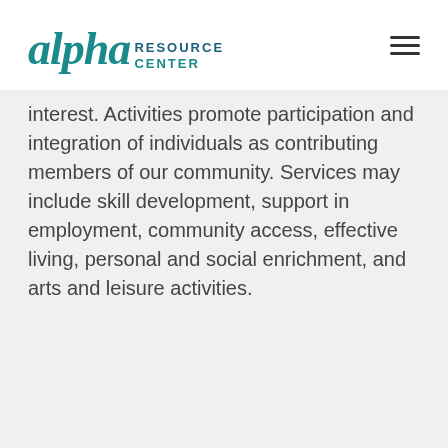alpha RESOURCE CENTER
interest. Activities promote participation and integration of individuals as contributing members of our community. Services may include skill development, support in employment, community access, effective living, personal and social enrichment, and arts and leisure activities.